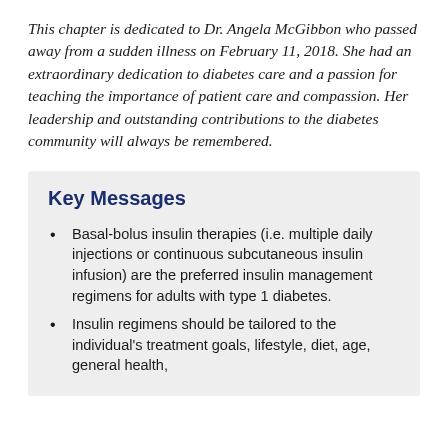This chapter is dedicated to Dr. Angela McGibbon who passed away from a sudden illness on February 11, 2018. She had an extraordinary dedication to diabetes care and a passion for teaching the importance of patient care and compassion. Her leadership and outstanding contributions to the diabetes community will always be remembered.
Key Messages
Basal-bolus insulin therapies (i.e. multiple daily injections or continuous subcutaneous insulin infusion) are the preferred insulin management regimens for adults with type 1 diabetes.
Insulin regimens should be tailored to the individual's treatment goals, lifestyle, diet, age, general health,